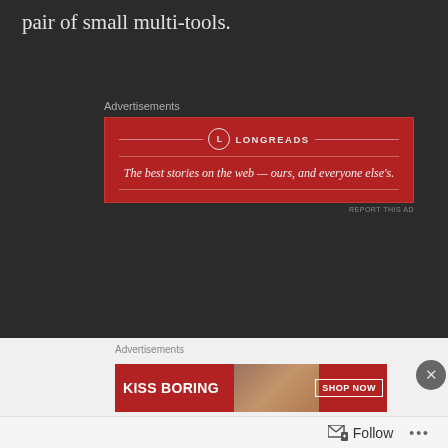pair of small multi-tools.
[Figure (screenshot): Longreads advertisement banner with red background. Logo with circle L, tagline: The best stories on the web — ours, and everyone else's.]
There is a pouch at the bottom of the main pack and I keep gear I might need quick access to in there. It contains:
Shemagh: Can be used as a face cover, a scarf, or a bandage
Gloves
Rifle Cleaning Kit
[Figure (screenshot): Bottom advertisement overlay with Kiss Boring text and Shop Now button, plus a Follow bar at the bottom]